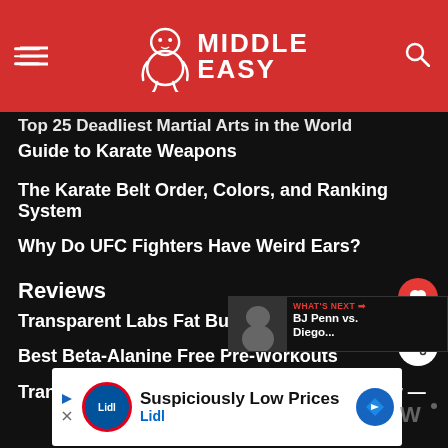Middle Easy
Top 25 Deadliest Martial Arts in the World
Guide to Karate Weapons
The Karate Belt Order, Colors, and Ranking System
Why Do UFC Fighters Have Weird Ears?
Reviews
Transparent Labs Fat Burner Review
Best Beta-Alanine Free Pre-Workouts
Transparent Labs BULK Pre-Workout Review —
[Figure (screenshot): What's Next widget showing BJ Penn vs. Diego...]
[Figure (screenshot): Lidl advertisement: Suspiciously Low Prices]